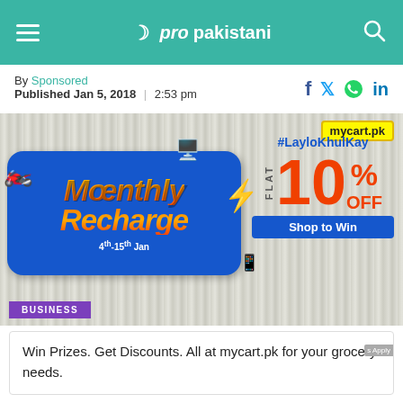ProPakistani
By Sponsored
Published Jan 5, 2018 | 2:53 pm
[Figure (illustration): mycart.pk Monthly Recharge promotion banner showing FLAT 10% OFF, #LayloKhulKay, Shop to Win, 4th-15th Jan]
BUSINESS
Win Prizes. Get Discounts. All at mycart.pk for your grocery needs.